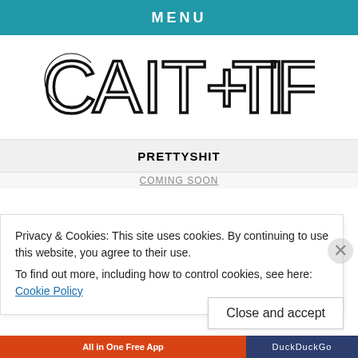MENU
[Figure (logo): CAIT+TIFF logo in large stylized serif/sans outline font]
PRETTYSHIT
Privacy & Cookies: This site uses cookies. By continuing to use this website, you agree to their use.
To find out more, including how to control cookies, see here: Cookie Policy
Close and accept